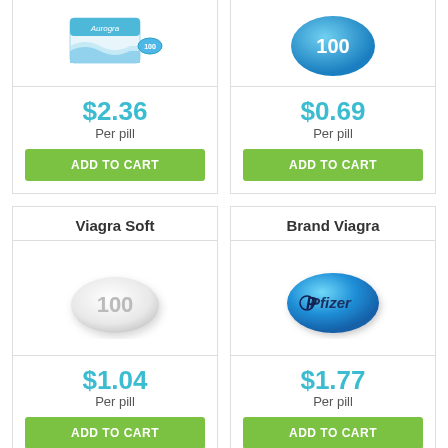[Figure (photo): Aurogra pill packet - blue and white box packaging]
$2.36
Per pill
ADD TO CART
[Figure (photo): Blue diamond-shaped Viagra 100 pill]
$0.69
Per pill
ADD TO CART
Viagra Soft
[Figure (photo): White oval pill with 100 printed on it]
$1.04
Per pill
ADD TO CART
Brand Viagra
[Figure (photo): Blue Pfizer diamond-shaped pill]
$1.77
Per pill
ADD TO CART